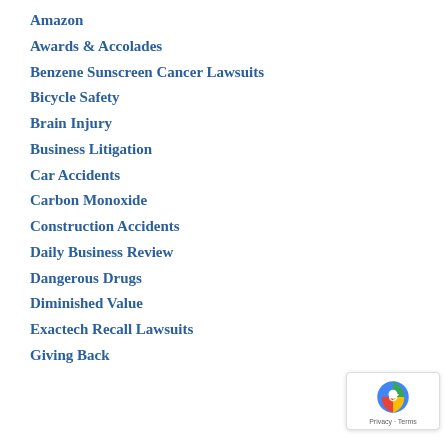Amazon
Awards & Accolades
Benzene Sunscreen Cancer Lawsuits
Bicycle Safety
Brain Injury
Business Litigation
Car Accidents
Carbon Monoxide
Construction Accidents
Daily Business Review
Dangerous Drugs
Diminished Value
Exactech Recall Lawsuits
Giving Back